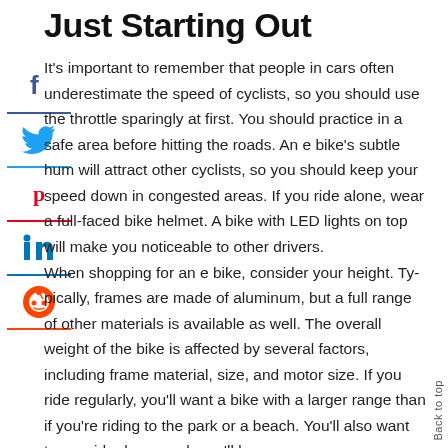Just Starting Out
It's important to remember that people in cars often underestimate the speed of cyclists, so you should use the throttle sparingly at first. You should practice in a safe area before hitting the roads. An e bike's subtle hum will attract other cyclists, so you should keep your speed down in congested areas. If you ride alone, wear a full-faced bike helmet. A bike with LED lights on top will make you noticeable to other drivers.
When shopping for an e bike, consider your height. Typically, frames are made of aluminum, but a full range of other materials is available as well. The overall weight of the bike is affected by several factors, including frame material, size, and motor size. If you ride regularly, you'll want a bike with a larger range than if you're riding to the park or a beach. You'll also want to consider how much you'll be